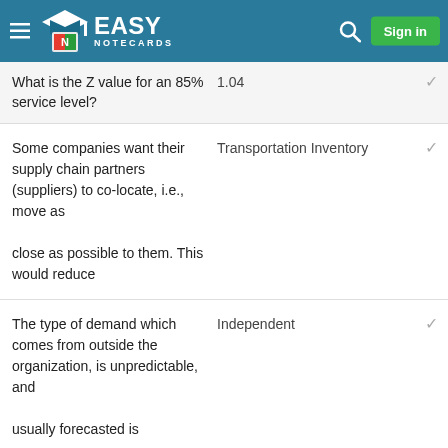Easy Notecards — Sign in
What is the Z value for an 85% service level?
1.04
Some companies want their supply chain partners (suppliers) to co-locate, i.e., move as close as possible to them. This would reduce
Transportation Inventory
The type of demand which comes from outside the organization, is unpredictable, and usually forecasted is
Independent